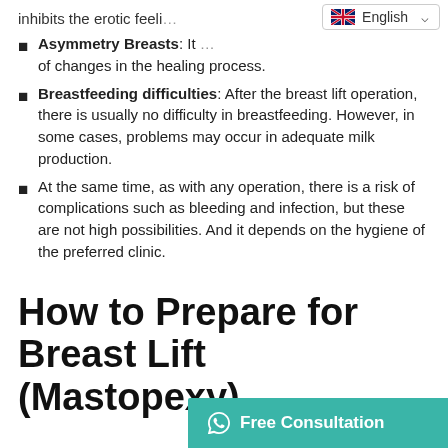inhibits the erotic feeli…
Asymmetry Breasts: It … of changes in the healing process.
Breastfeeding difficulties: After the breast lift operation, there is usually no difficulty in breastfeeding. However, in some cases, problems may occur in adequate milk production.
At the same time, as with any operation, there is a risk of complications such as bleeding and infection, but these are not high possibilities. And it depends on the hygiene of the preferred clinic.
How to Prepare for Breast Lift (Mastopexy)